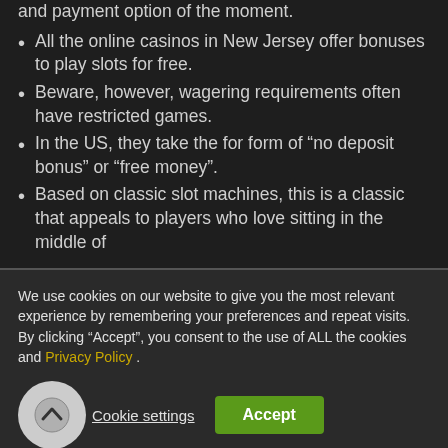and payment option of the moment.
All the online casinos in New Jersey offer bonuses to play slots for free.
Beware, however, wagering requirements often have restricted games.
In the US, they take the for form of “no deposit bonus” or “free money”.
Based on classic slot machines, this is a classic that appeals to players who love sitting in the middle of
We use cookies on our website to give you the most relevant experience by remembering your preferences and repeat visits. By clicking “Accept”, you consent to the use of ALL the cookies and Privacy Policy .